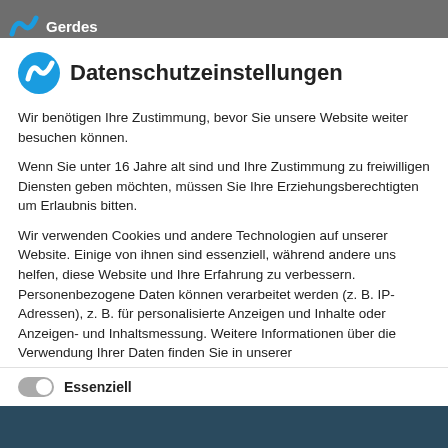Gerdes
Datenschutzeinstellungen
Wir benötigen Ihre Zustimmung, bevor Sie unsere Website weiter besuchen können.
Wenn Sie unter 16 Jahre alt sind und Ihre Zustimmung zu freiwilligen Diensten geben möchten, müssen Sie Ihre Erziehungsberechtigten um Erlaubnis bitten.
Wir verwenden Cookies und andere Technologien auf unserer Website. Einige von ihnen sind essenziell, während andere uns helfen, diese Website und Ihre Erfahrung zu verbessern. Personenbezogene Daten können verarbeitet werden (z. B. IP-Adressen), z. B. für personalisierte Anzeigen und Inhalte oder Anzeigen- und Inhaltsmessung. Weitere Informationen über die Verwendung Ihrer Daten finden Sie in unserer Datenschutzerklärung. Sie können Ihre Auswahl jederzeit unter Einstellungen widerrufen oder anpassen.